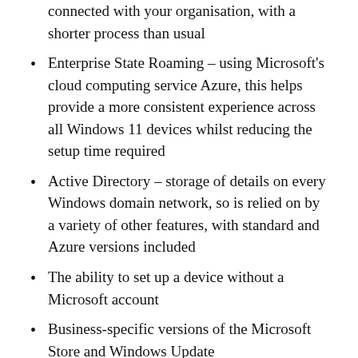connected with your organisation, with a shorter process than usual
Enterprise State Roaming – using Microsoft's cloud computing service Azure, this helps provide a more consistent experience across all Windows 11 devices whilst reducing the setup time required
Active Directory – storage of details on every Windows domain network, so is relied on by a variety of other features, with standard and Azure versions included
The ability to set up a device without a Microsoft account
Business-specific versions of the Microsoft Store and Windows Update
As you can see, a lot of these features focus on